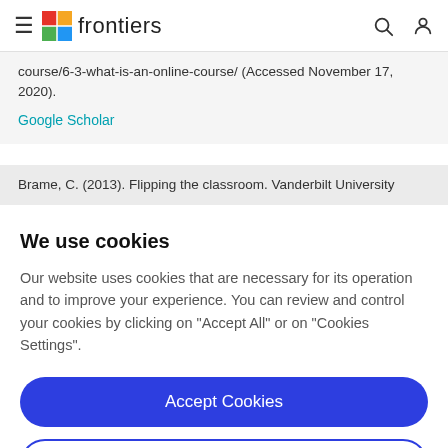frontiers
course/6-3-what-is-an-online-course/ (Accessed November 17, 2020).
Google Scholar
Brame, C. (2013). Flipping the classroom. Vanderbilt University
We use cookies
Our website uses cookies that are necessary for its operation and to improve your experience. You can review and control your cookies by clicking on "Accept All" or on "Cookies Settings".
Accept Cookies
Cookies Settings